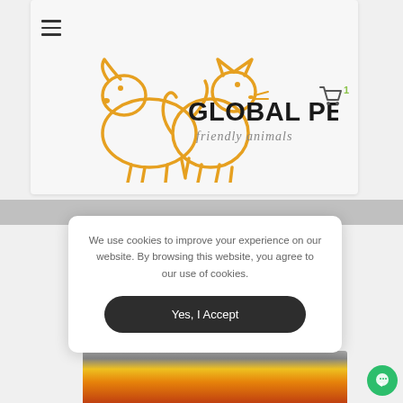[Figure (logo): Global Pet Farm logo with outlined dog and cat silhouettes in orange, bold text GLOBAL PET FARM with tagline friendly animals]
We use cookies to improve your experience on our website. By browsing this website, you agree to our use of cookies.
Yes, I Accept
[Figure (photo): Partial view of a colorful bird (parrot) at the bottom of the page]